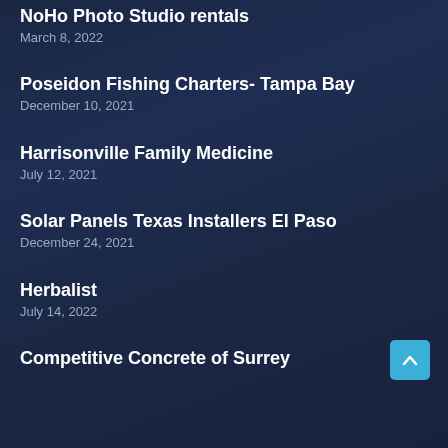NoHo Photo Studio rentals
March 8, 2022
Poseidon Fishing Charters- Tampa Bay
December 10, 2021
Harrisonville Family Medicine
July 12, 2021
Solar Panels Texas Installers El Paso
December 24, 2021
Herbalist
July 14, 2022
Competitive Concrete of Surrey